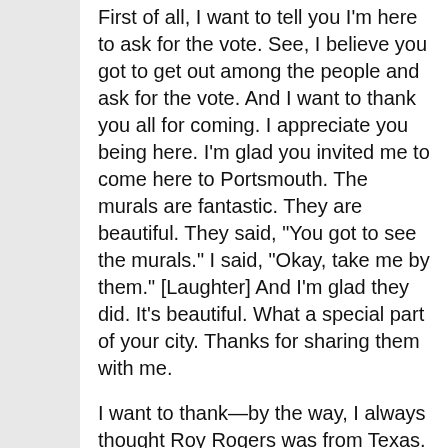First of all, I want to tell you I'm here to ask for the vote. See, I believe you got to get out among the people and ask for the vote. And I want to thank you all for coming. I appreciate you being here. I'm glad you invited me to come here to Portsmouth. The murals are fantastic. They are beautiful. They said, "You got to see the murals." I said, "Okay, take me by them." [Laughter] And I'm glad they did. It's beautiful. What a special part of your city. Thanks for sharing them with me.
I want to thank—by the way, I always thought Roy Rogers was from Texas. [Laughter] I know, I'm wrong. [Laughter] I'm sorry Laura is not here.
Audience members. Aw-w-w!
The President. I know. We got on the